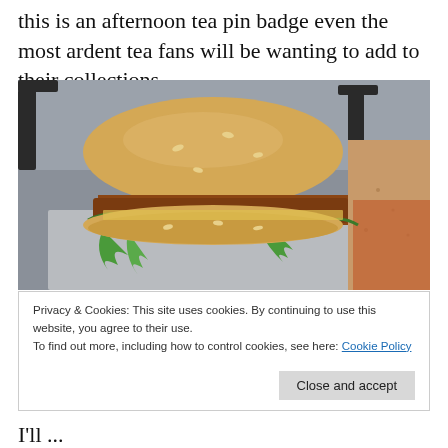this is an afternoon tea pin badge even the most ardent tea fans will be wanting to add to their collections.
[Figure (photo): A burger/sandwich on a sesame seed bun with arugula leaves and meat filling on a metal tray, with a triangular piece of bread visible on the right side. Restaurant chairs visible in blurred background.]
Privacy & Cookies: This site uses cookies. By continuing to use this website, you agree to their use.
To find out more, including how to control cookies, see here: Cookie Policy
I'll ...